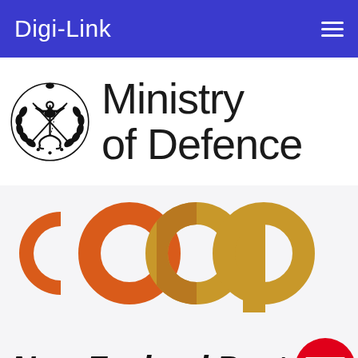Digi-Link
[Figure (logo): Ministry of Defence logo with crest and text 'Ministry of Defence']
[Figure (logo): Coop logo in orange and yellow/gold interlocking circles spelling 'coop']
[Figure (logo): New Zealand Post logo with italic bold text and red envelope icon]